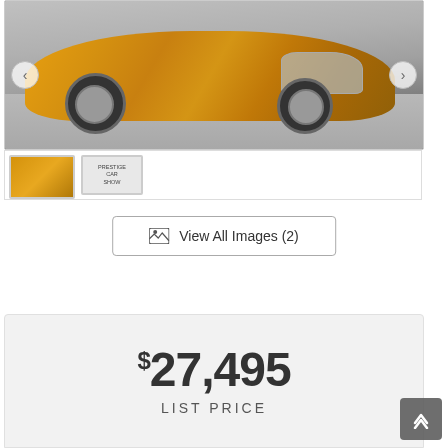[Figure (photo): Orange Nissan 350Z sports car front view in parking lot with gravel ground]
View All Images (2)
$27,495 LIST PRICE